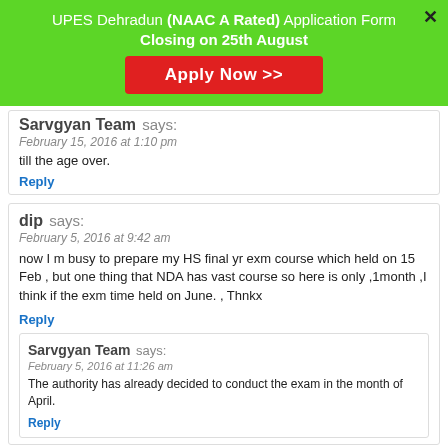[Figure (other): Green advertisement banner for UPES Dehradun with Apply Now button and close X button]
Sarvgyan Team says:
February 15, 2016 at 1:10 pm
till the age over.
Reply
dip says:
February 5, 2016 at 9:42 am
now I m busy to prepare my HS final yr exm course which held on 15 Feb , but one thing that NDA has vast course so here is only ,1month ,I think if the exm time held on June. , Thnkx
Reply
Sarvgyan Team says:
February 5, 2016 at 11:26 am
The authority has already decided to conduct the exam in the month of April.
Reply